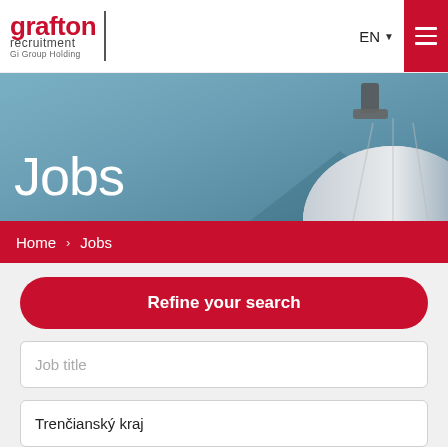[Figure (logo): Grafton Recruitment - Gi Group Holding logo in red and dark text]
[Figure (photo): Hero banner with text 'Jobs' over a blue-sky background with a dome structure]
Home > Jobs
Refine your search
Job title
Trenčianský kraj